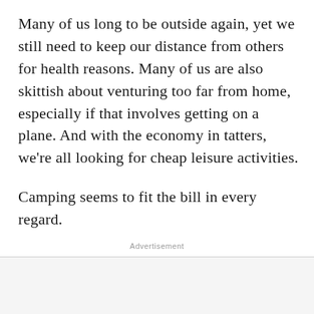Many of us long to be outside again, yet we still need to keep our distance from others for health reasons. Many of us are also skittish about venturing too far from home, especially if that involves getting on a plane. And with the economy in tatters, we're all looking for cheap leisure activities.

Camping seems to fit the bill in every regard.
Advertisement
[Figure (other): Advertisement box with close (X) button in upper right corner]